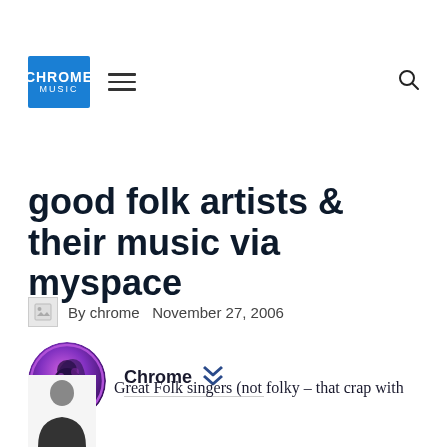Chrome Music
good folk artists & their music via myspace
By chrome   November 27, 2006
Chrome
Great Folk singers (not folky – that crap with